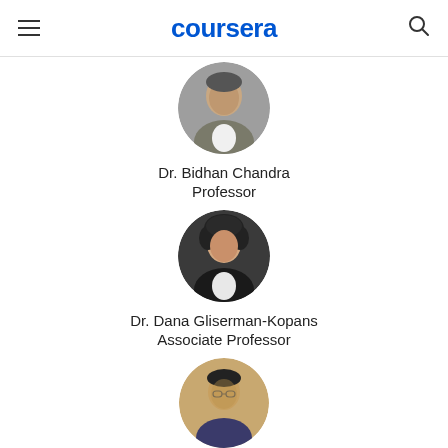coursera
[Figure (photo): Circular profile photo of Dr. Bidhan Chandra, an older man wearing a jacket]
Dr. Bidhan Chandra
Professor
[Figure (photo): Circular profile photo of Dr. Dana Gliserman-Kopans, a woman with curly hair]
Dr. Dana Gliserman-Kopans
Associate Professor
[Figure (photo): Circular profile photo of a man wearing glasses]